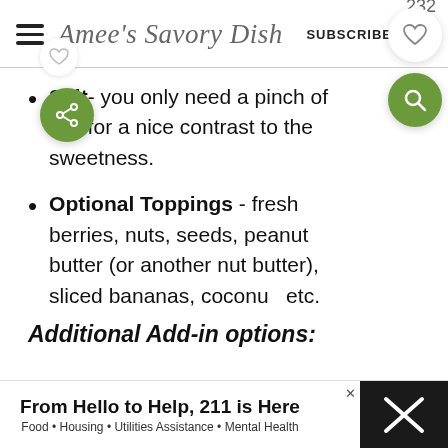Amee's Savory Dish  SUBSCRIBE
Salt- you only need a pinch of salt for a nice contrast to the sweetness.
Optional Toppings - fresh berries, nuts, seeds, peanut butter (or another nut butter), sliced bananas, coconut etc.
Additional Add-in options:
[Figure (screenshot): Advertisement banner: From Hello to Help, 211 is Here. Food • Housing • Utilities Assistance • Mental Health]